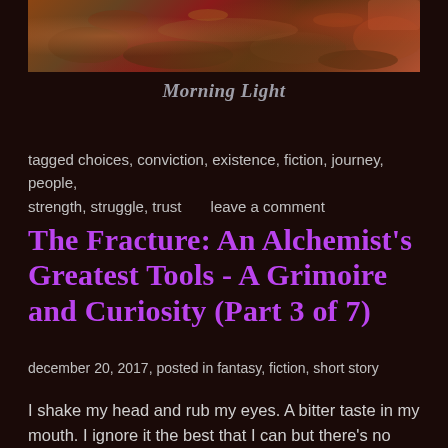[Figure (photo): A photograph showing rocks and stones with warm reddish-brown tones, suggesting a natural outdoor scene, likely a rocky path or riverbed in morning light.]
Morning Light
tagged choices, conviction, existence, fiction, journey, people, strength, struggle, trust      leave a comment
The Fracture: An Alchemist's Greatest Tools - A Grimoire and Curiosity (Part 3 of 7)
december 20, 2017, posted in fantasy, fiction, short story
I shake my head and rub my eyes. A bitter taste in my mouth. I ignore it the best that I can but there's no denying these memories. They follow me even in my